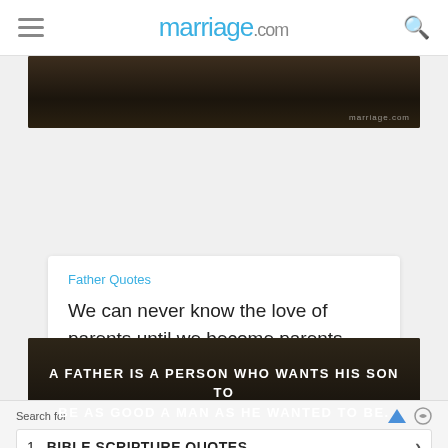marriage.com
[Figure (photo): Dark background photo banner at top of content area with marriage.com watermark]
Father Quotes
We can never know the love of parents until we become parents. -
[Figure (infographic): Social share buttons: Facebook, WhatsApp, Pinterest, plus]
[Figure (photo): Dark background photo with text: A FATHER IS A PERSON WHO WANTS HIS SON TO BE AS GOOD A MAN AS HE WANTED TO BE.]
Search for
1. BIBLE SCRIPTURE QUOTES